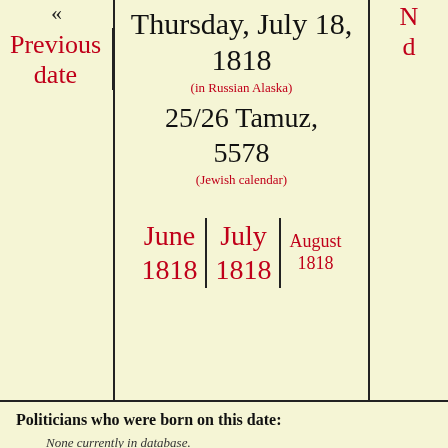« Previous date
Thursday, July 18, 1818
(in Russian Alaska)
25/26 Tamuz, 5578
(Jewish calendar)
June 1818 | July 1818 | August 1818
Next date
Politicians who were born on this date:
None currently in database.